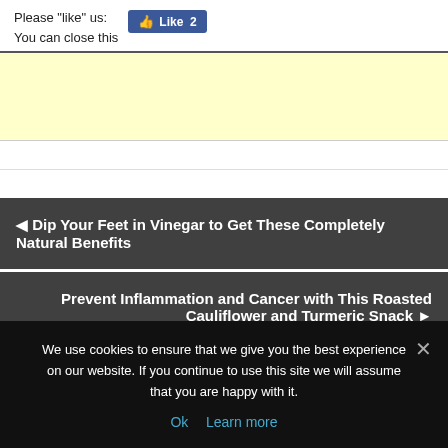Please "like" us:
You can close this
[Figure (screenshot): Facebook Like button showing count of 2]
[Figure (other): Yellow advertisement banner area]
◄ Dip Your Feet in Vinegar to Get These Completely Natural Benefits
Prevent Inflammation and Cancer with This Roasted Cauliflower and Turmeric Snack ►
We use cookies to ensure that we give you the best experience on our website. If you continue to use this site we will assume that you are happy with it.
Ok  Learn more